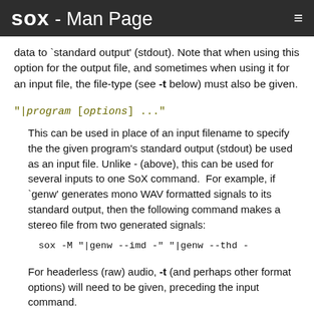sox - Man Page
data to `standard output' (stdout). Note that when using this option for the output file, and sometimes when using it for an input file, the file-type (see -t below) must also be given.
"|program [options] ..."
This can be used in place of an input filename to specify the the given program's standard output (stdout) be used as an input file. Unlike - (above), this can be used for several inputs to one SoX command. For example, if `genw' generates mono WAV formatted signals to its standard output, then the following command makes a stereo file from two generated signals:
sox -M "|genw --imd -" "|genw --thd -
For headerless (raw) audio, -t (and perhaps other format options) will need to be given, preceding the input command.
"wildcard-filename"